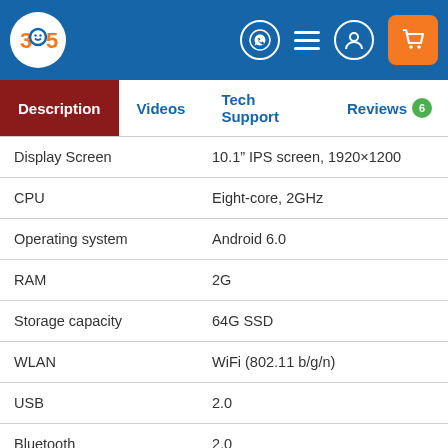[Figure (screenshot): Website header bar with 365 logo on blue background, WhatsApp icon, hamburger menu, user icon, and orange shopping cart button]
Description | Videos | Tech Support | Reviews 6
| Specification | Value |
| --- | --- |
| Display Screen | 10.1" IPS screen, 1920×1200 |
| CPU | Eight-core, 2GHz |
| Operating system | Android 6.0 |
| RAM | 2G |
| Storage capacity | 64G SSD |
| WLAN | WiFi (802.11 b/g/n) |
| USB | 2.0 |
| Bluetooth | 2.0 |
| Working temperature (ºC) | -10~+55 |
| Storage humidity | 20-90% |
| Storage temperature (ºC) | -20~+70 |